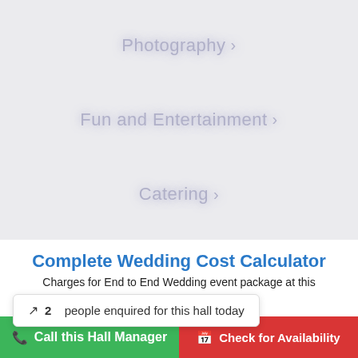Photography >
Fun and Entertainment >
Catering >
Complete Wedding Cost Calculator
Charges for End to End Wedding event package at this
2 people enquired for this hall today
Rs: 27,125
Call this Hall Manager
Check for Availability